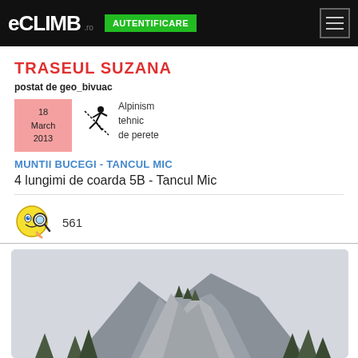eCLIMB.ro AUTENTIFICARE
TRASEUL SUZANA
postat de geo_bivuac
18 March 2013
Alpinism tehnic de perete
MUNTII BUCEGI - TANCUL MIC
4 lungimi de coarda 5B - Tancul Mic
561
[Figure (photo): Rocky mountain peak (Tancul Mic) with trees, overcast sky]